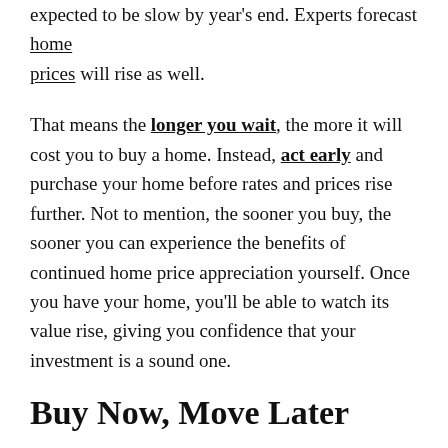expected to be slow by year's end. Experts forecast home prices will rise as well.
That means the longer you wait, the more it will cost you to buy a home. Instead, act early and purchase your home before rates and prices rise further. Not to mention, the sooner you buy, the sooner you can experience the benefits of continued home price appreciation yourself. Once you have your home, you'll be able to watch its value rise, giving you confidence that your investment is a sound one.
Buy Now, Move Later
Keep in mind, with high buyer demand like we're seeing today, you'll be competing against other potential homebuyers, which means you need to find a way to stand out. One way to accomplish this is to negotiate with sellers and present terms that meet their ideal needs